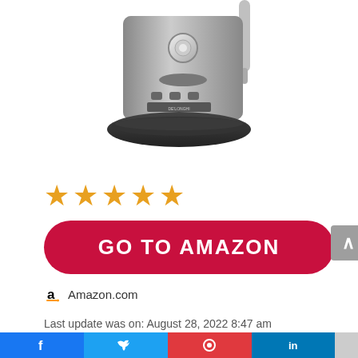[Figure (photo): Espresso machine (stainless steel/black) product photo cropped showing lower half with base and steam wand]
★★★★★
GO TO AMAZON
Amazon.com
Last update was on: August 28, 2022 8:47 am
[Figure (other): Social sharing bar at bottom: Facebook, Twitter, Pinterest, LinkedIn icons]